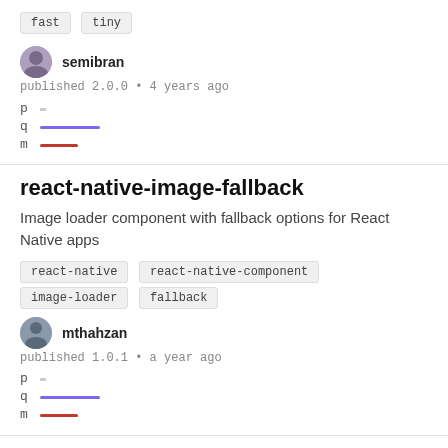fast  tiny
semibran
published 2.0.0 • 4 years ago
[Figure (other): p q m metric bars with purple and red lines]
react-native-image-fallback
Image loader component with fallback options for React Native apps
react-native
react-native-component
image-loader
fallback
mthahzan
published 1.0.1 • a year ago
[Figure (other): p q m metric bars with purple and red lines]